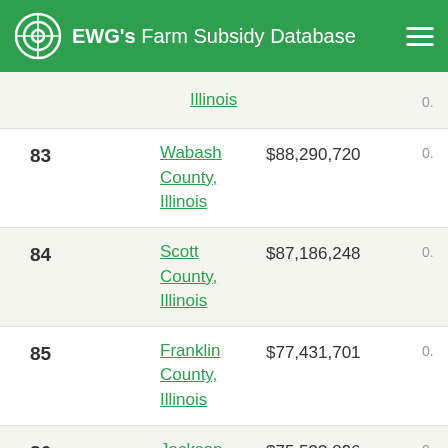EWG's Farm Subsidy Database
| Rank | County | Amount |  |
| --- | --- | --- | --- |
|  | Illinois |  | 0. |
| 83 | Wabash County, Illinois | $88,290,720 | 0. |
| 84 | Scott County, Illinois | $87,186,248 | 0. |
| 85 | Franklin County, Illinois | $77,431,701 | 0. |
| 86 | Jackson County, Illinois | $75,533,896 | 0. |